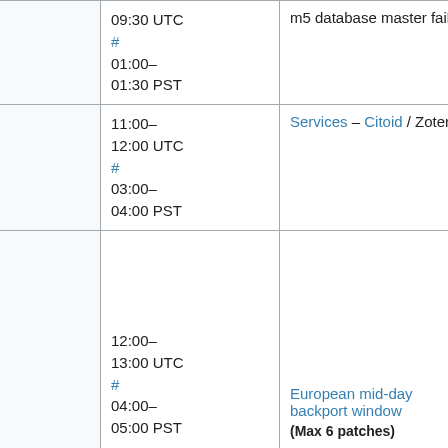|  | Time | Event | Extra |
| --- | --- | --- | --- |
|  | 09:30 UTC
#
01:00–01:30 PST | m5 database master failover | m |
|  | 11:00–12:00 UTC
#
03:00–04:00 PST | Services – Citoid / Zotero | M |
|  | 12:00–13:00 UTC
#
04:00–05:00 PST | European mid-day backport window
(Max 6 patches) | A
(
A
M |